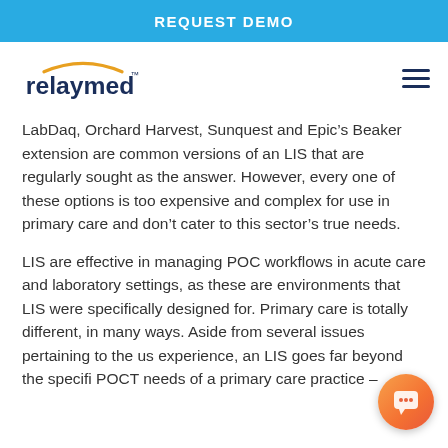REQUEST DEMO
[Figure (logo): Relaymed logo — stylized text 'relaymed' in dark navy blue with an orange arc above]
LabDaq, Orchard Harvest, Sunquest and Epic’s Beaker extension are common versions of an LIS that are regularly sought as the answer. However, every one of these options is too expensive and complex for use in primary care and don’t cater to this sector’s true needs.
LIS are effective in managing POC workflows in acute care and laboratory settings, as these are environments that LIS were specifically designed for. Primary care is totally different, in many ways. Aside from several issues pertaining to the us experience, an LIS goes far beyond the specifi POCT needs of a primary care practice –